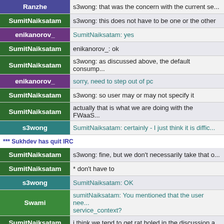| User | Message |
| --- | --- |
| Ranzhe | s3wong: that was the concern with the current se... |
| SumitNaiksatam | s3wong: this does not have to be one or the other |
| enikanorov_ | SumitNaiksatam: yes |
| SumitNaiksatam | enikanorov_: ok |
| SumitNaiksatam | s3wong: as discussed above, the default consump... |
| enikanorov_ | sorry, need to step out of pc |
| SumitNaiksatam | s3wong: so user may or may not specify it |
| SumitNaiksatam | actually that is what we are doing with the FWaaS... |
| s3wong | SumitNaiksatam: certainly - I just think it is diffic... |
| *** Sukhdev has quit IRC |  |
| SumitNaiksatam | s3wong: fine, but we don't necessarily take that o... |
| SumitNaiksatam | * don't have to |
| s3wong | SumitNaiksatam: OK |
| Swami | sumitNaiksatam: You mentioned that the user nee... service_context? |
| SumitNaiksatam | i think we tend to get rat holed in the discussion a... |
| SumitNaiksatam | Swami: the service_context has to come from som... |
| SumitNaiksatam | Swami: either the user provides it, or the backend... |
| SumitNaiksatam | Swami: the service_context is merely a hook to p... |
| s3wong | SumitNaiksatam: well, if it isn't supposed to be sp... instantiated |